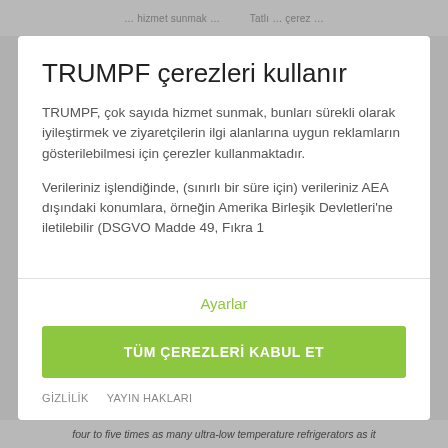…hizmet sunmak … Tatlı … çerez …
TRUMPF çerezleri kullanır
TRUMPF, çok sayıda hizmet sunmak, bunları sürekli olarak iyileştirmek ve ziyaretçilerin ilgi alanlarına uygun reklamların gösterilebilmesi için çerezler kullanmaktadır.
Verileriniz işlendiğinde, (sınırlı bir süre için) verileriniz AEA dışındaki konumlara, örneğin Amerika Birleşik Devletleri'ne iletilebilir (DSGVO Madde 49, Fıkra 1
Ayarlar
TÜM ÇEREZLERİ KABUL ET
GİZLİLİK   YAYIN HAKLARI
four to five times as many ultra-low temperature refrigerators as it